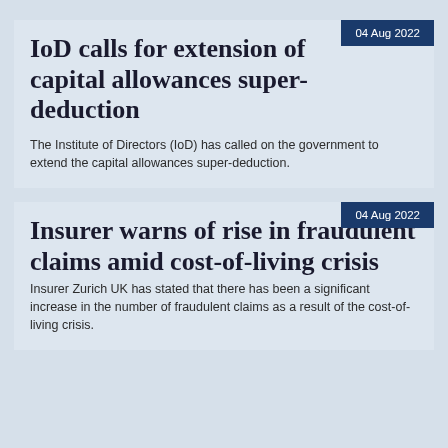IoD calls for extension of capital allowances super-deduction
04 Aug 2022
The Institute of Directors (IoD) has called on the government to extend the capital allowances super-deduction.
Insurer warns of rise in fraudulent claims amid cost-of-living crisis
04 Aug 2022
Insurer Zurich UK has stated that there has been a significant increase in the number of fraudulent claims as a result of the cost-of-living crisis.